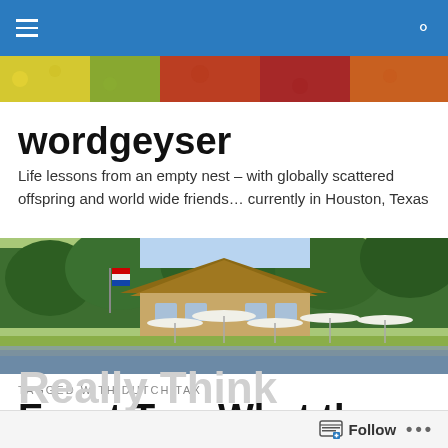wordgeyser — navigation bar
[Figure (photo): Colorful flower strip banner]
wordgeyser
Life lessons from an empty nest – with globally scattered offspring and world wide friends… currently in Houston, Texas
[Figure (photo): Outdoor restaurant/pavilion with thatched roof, white umbrellas, surrounded by green trees and lavender flowers near a lake]
TAGGED WITH DUTCH TAX
Expat Tax: What the Dutch Really Think
Follow ...